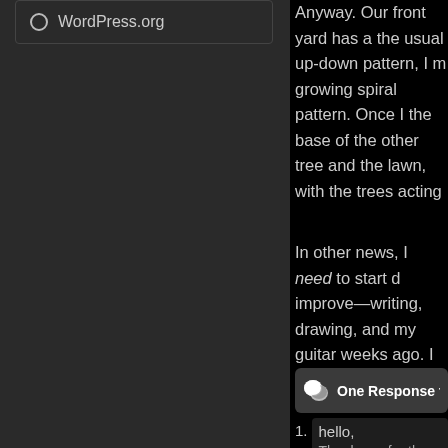WordPress.org
Anyway. Our front yard has a the usual up-down pattern, I m growing spiral pattern. Once I the base of the other tree and the lawn, with the trees acting
In other news, I need to start d improve—writing, drawing, and my guitar weeks ago. I don't kn
One Response to “I m
hello,
Thank you for the great qua